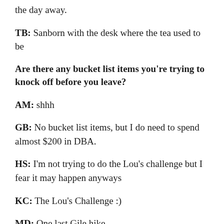the day away.
TB: Sanborn with the desk where the tea used to be
Are there any bucket list items you're trying to knock off before you leave?
AM: shhh
GB: No bucket list items, but I do need to spend almost $200 in DBA.
HS: I'm not trying to do the Lou's challenge but I fear it may happen anyways
KC: The Lou's Challenge :)
MD: One last Gile hike